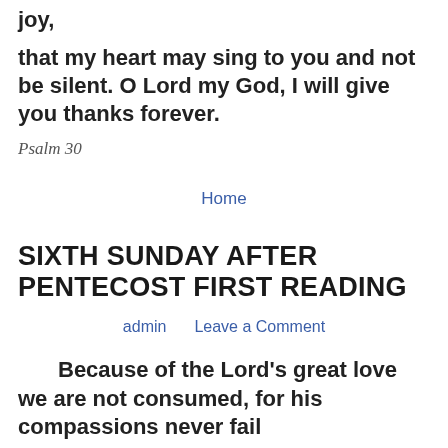joy,
that my heart may sing to you and not be silent. O Lord my God, I will give you thanks forever.
Psalm 30
Home
SIXTH SUNDAY AFTER PENTECOST FIRST READING
admin   Leave a Comment
Because of the Lord’s great love we are not consumed, for his compassions never fail